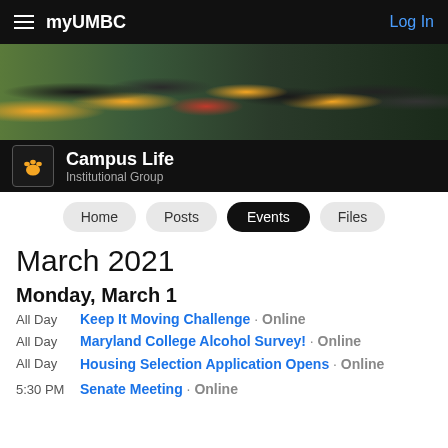myUMBC    Log In
[Figure (photo): Group photo of students in UMBC apparel, smiling and celebrating outdoors]
Campus Life · Institutional Group
Home  Posts  Events  Files
March 2021
Monday, March 1
All Day  Keep It Moving Challenge · Online
All Day  Maryland College Alcohol Survey! · Online
All Day  Housing Selection Application Opens · Online
5:30 PM  Senate Meeting · Online